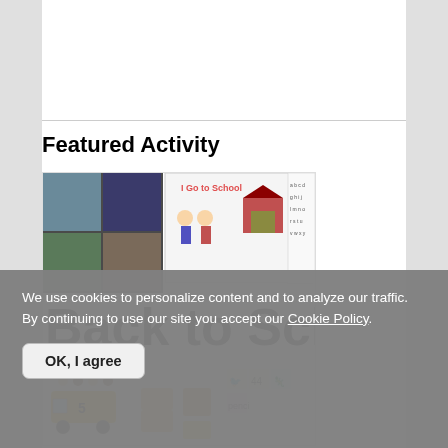Featured Activity
[Figure (illustration): Collage image showing Back to School Preschool Activities, Games, and Printables - includes school bus, children, worksheets, and activity pages with text 'Back to Schoo' (cropped)]
Back to School Preschool Activities, Games, and Printables
We use cookies to personalize content and to analyze our traffic. By continuing to use our site you accept our Cookie Policy.
OK, I agree